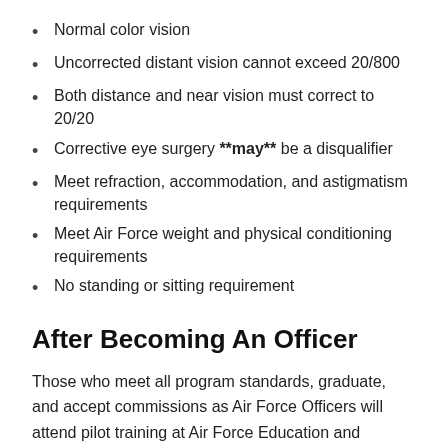Normal color vision
Uncorrected distant vision cannot exceed 20/800
Both distance and near vision must correct to 20/20
Corrective eye surgery **may** be a disqualifier
Meet refraction, accommodation, and astigmatism requirements
Meet Air Force weight and physical conditioning requirements
No standing or sitting requirement
After Becoming An Officer
Those who meet all program standards, graduate, and accept commissions as Air Force Officers will attend pilot training at Air Force Education and Training Command.